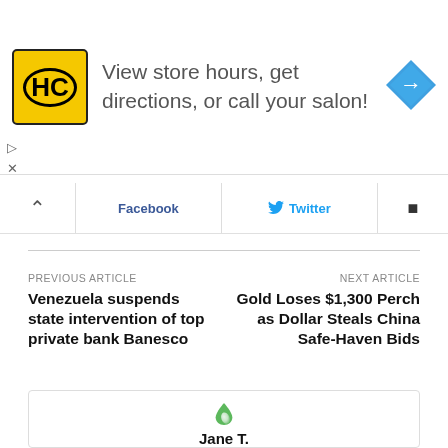[Figure (infographic): Advertisement banner for a hair salon (HC logo in yellow/black circle with border) with text 'View store hours, get directions, or call your salon!' and a blue diamond navigation arrow icon on the right.]
[Figure (infographic): Social sharing bar with caret/up arrow, Facebook button, Twitter button, and another share button.]
PREVIOUS ARTICLE
Venezuela suspends state intervention of top private bank Banesco
NEXT ARTICLE
Gold Loses $1,300 Perch as Dollar Steals China Safe-Haven Bids
[Figure (logo): Green water droplet / flame logo for the author profile card.]
Jane T.